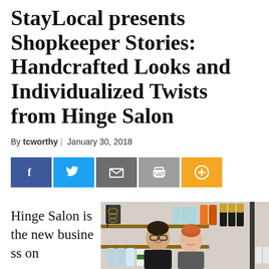StayLocal presents Shopkeeper Stories: Handcrafted Looks and Individualized Twists from Hinge Salon
By tcworthy | January 30, 2018
[Figure (infographic): Social sharing buttons: Facebook (dark blue), Twitter (light blue), Email (gray), Print (gray), Plus/share (orange)]
[Figure (photo): Two people standing in a hair salon with shelves of hair products and jewelry in the background. One person has short reddish hair.]
Hinge Salon is the new business on